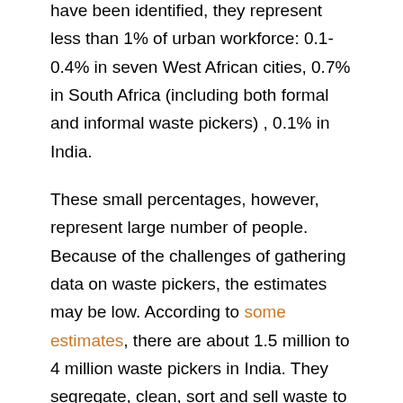have been identified, they represent less than 1% of urban workforce: 0.1-0.4% in seven West African cities, 0.7% in South Africa (including both formal and informal waste pickers) , 0.1% in India.
These small percentages, however, represent large number of people. Because of the challenges of gathering data on waste pickers, the estimates may be low. According to some estimates, there are about 1.5 million to 4 million waste pickers in India. They segregate, clean, sort and sell waste to make a living. An IEMS study found that majority of waste pickers had generally low levels of formal education. In many areas, the work was done by disadvantaged groups. For example in Pune, India, the work is largely confined to scheduled castes. Waste picking is generally a family business with flexible working hours requiring little or no education. It is highly adaptable and can be learned easily with little training. For the